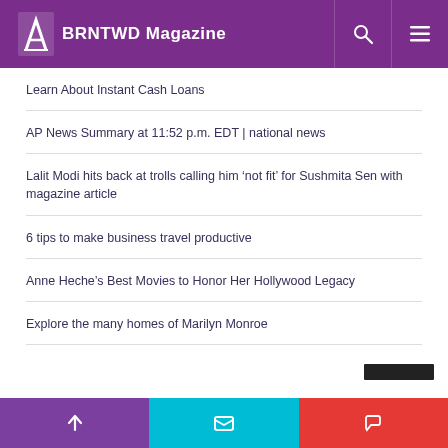BRNTWD Magazine
Learn About Instant Cash Loans
AP News Summary at 11:52 p.m. EDT | national news
Lalit Modi hits back at trolls calling him ‘not fit’ for Sushmita Sen with magazine article
6 tips to make business travel productive
Anne Heche’s Best Movies to Honor Her Hollywood Legacy
Explore the many homes of Marilyn Monroe
ARCHIVES